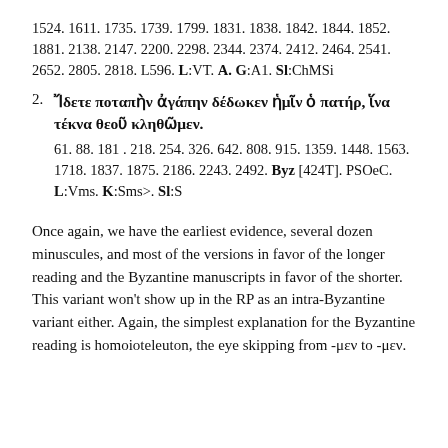1524. 1611. 1735. 1739. 1799. 1831. 1838. 1842. 1844. 1852. 1881. 2138. 2147. 2200. 2298. 2344. 2374. 2412. 2464. 2541. 2652. 2805. 2818. L596. L:VT. A. G:A1. Sl:ChMSi
2. Ἴδετε ποταπὴν ἀγάπην δέδωκεν ἡμῖν ὁ πατήρ, ἵνα τέκνα θεοῦ κληθῶμεν. 61. 88. 181 . 218. 254. 326. 642. 808. 915. 1359. 1448. 1563. 1718. 1837. 1875. 2186. 2243. 2492. Byz [424T]. PSOeC. L:Vms. K:Sms>. Sl:S
Once again, we have the earliest evidence, several dozen minuscules, and most of the versions in favor of the longer reading and the Byzantine manuscripts in favor of the shorter. This variant won't show up in the RP as an intra‑Byzantine variant either. Again, the simplest explanation for the Byzantine reading is homoioteleuton, the eye skipping from ‑μεν to ‑μεν.